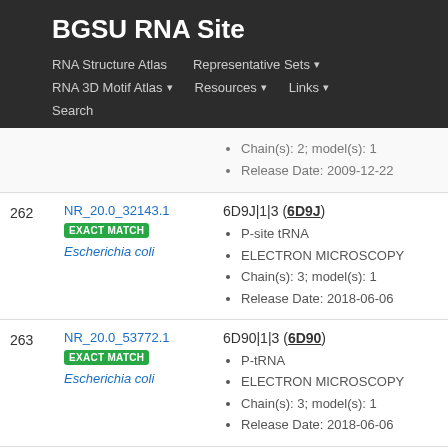BGSU RNA Site
RNA Structure Atlas | Representative Sets ▾ | RNA 3D Motif Atlas ▾ | Resources ▾ | Links ▾ | Search
| # | ID | Info |
| --- | --- | --- |
|  |  | Chain(s): 2; model(s): 1
Release Date: 2009-12-22 |
| 262 | NR_20.0_32143.1
EXACT MATCH
Escherichia coli | 6D9J|1|3 (6D9J)
P-site tRNA
ELECTRON MICROSCOPY
Chain(s): 3; model(s): 1
Release Date: 2018-06-06 |
| 263 | NR_20.0_53772.1
EXACT MATCH
Escherichia coli | 6D90|1|3 (6D90)
P-tRNA
ELECTRON MICROSCOPY
Chain(s): 3; model(s): 1
Release Date: 2018-06-06 |